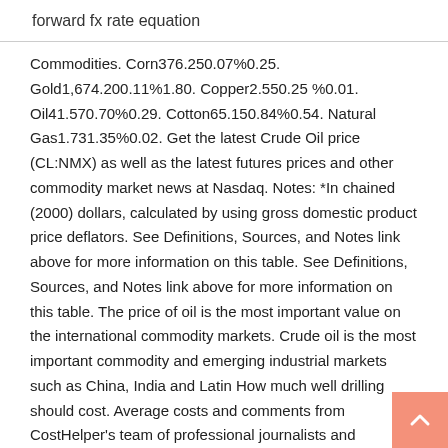forward fx rate equation
Commodities. Corn376.250.07%0.25. Gold1,674.200.11%1.80. Copper2.550.25 %0.01. Oil41.570.70%0.29. Cotton65.150.84%0.54. Natural Gas1.731.35%0.02. Get the latest Crude Oil price (CL:NMX) as well as the latest futures prices and other commodity market news at Nasdaq. Notes: *In chained (2000) dollars, calculated by using gross domestic product price deflators. See Definitions, Sources, and Notes link above for more information on this table. See Definitions, Sources, and Notes link above for more information on this table. The price of oil is the most important value on the international commodity markets. Crude oil is the most important commodity and emerging industrial markets such as China, India and Latin How much well drilling should cost. Average costs and comments from CostHelper's team of professional journalists and community of users. Prices for drilling a water well are typically quoted by the foot, and vary significantly depending on the type and difficulty of the material being drilled through (sand, solid rock, clay, etc.). Get updated data about energy and